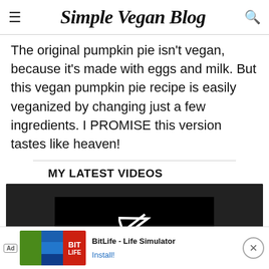Simple Vegan Blog
The original pumpkin pie isn't vegan, because it's made with eggs and milk. But this vegan pumpkin pie recipe is easily veganized by changing just a few ingredients. I PROMISE this version tastes like heaven!
MY LATEST VIDEOS
[Figure (screenshot): Video player showing 'The video cannot be...' error message with play arrow icon on dark background]
[Figure (screenshot): Ad banner for BitLife - Life Simulator app with Install! button]